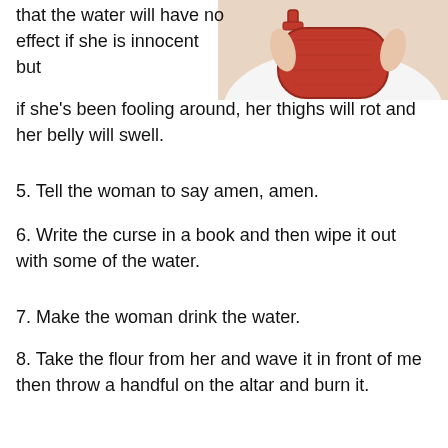[Figure (photo): Photo of a person holding a red hot water bottle against their abdomen/lower body, wearing white undergarment]
that the water will have no effect if she is innocent but if she's been fooling around, her thighs will rot and her belly will swell.
5. Tell the woman to say amen, amen.
6. Write the curse in a book and then wipe it out with some of the water.
7. Make the woman drink the water.
8. Take the flour from her and wave it in front of me then throw a handful on the altar and burn it.
9. Have the woman drink some more water.
“If she’s pregnant she’ll abort, and after that if her thigh rots and her belly swells, she’s cursed and a lying slut. If not, she’s ok. In this way the husband can avoid being guilty of sleeping with a slut and the woman will